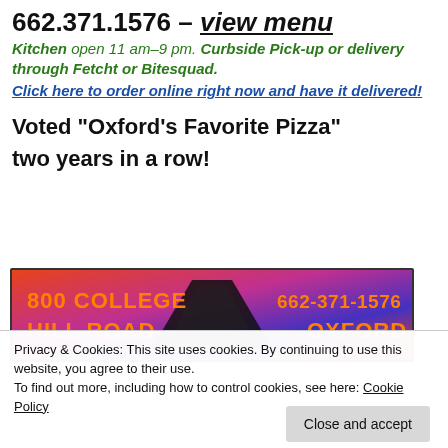662.371.1576 – view menu
Kitchen open 11 am–9 pm. Curbside Pick-up or delivery through Fetcht or Bitesquad. Click here to order online right now and have it delivered!
Voted “Oxford’s Favorite Pizza” two years in a row!
[Figure (photo): Pizza restaurant banner showing '800 COLLEGE HILL ROAD' and '662-371-1576 OXFORD.' with colorful background and mountain/triangle logo]
Privacy & Cookies: This site uses cookies. By continuing to use this website, you agree to their use. To find out more, including how to control cookies, see here: Cookie Policy
Close and accept